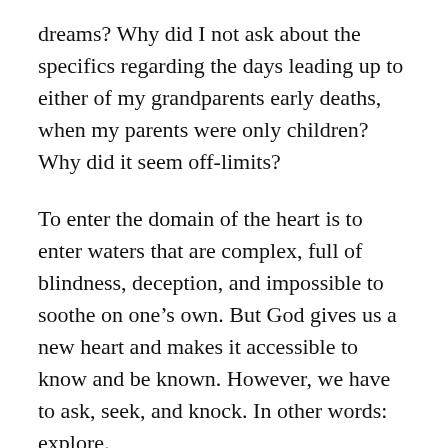dreams? Why did I not ask about the specifics regarding the days leading up to either of my grandparents early deaths, when my parents were only children? Why did it seem off-limits?
To enter the domain of the heart is to enter waters that are complex, full of blindness, deception, and impossible to soothe on one’s own. But God gives us a new heart and makes it accessible to know and be known. However, we have to ask, seek, and knock. In other words: explore.
We need to venture into dangerous places that don’t have simple answers or quick solutions.
We ask, seek, and, when we get close to what we